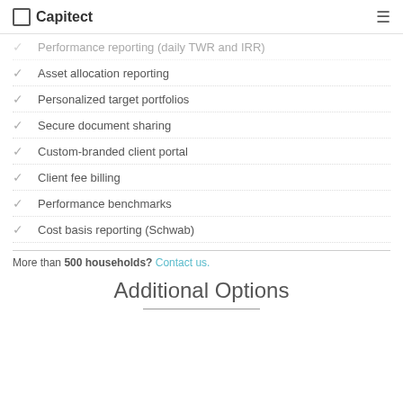Capitect
Performance reporting (daily TWR and IRR)
Asset allocation reporting
Personalized target portfolios
Secure document sharing
Custom-branded client portal
Client fee billing
Performance benchmarks
Cost basis reporting (Schwab)
More than 500 households? Contact us.
Additional Options